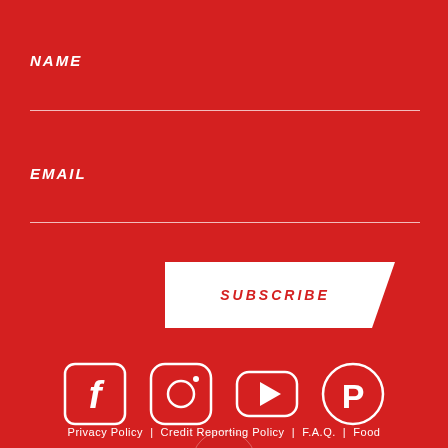NAME
EMAIL
SUBSCRIBE
[Figure (infographic): Four social media icons in white outline style on red background: Facebook, Instagram, YouTube, Pinterest. Below them a circle with hamburger menu lines.]
Privacy Policy | Credit Reporting Policy | F.A.Q. | Food